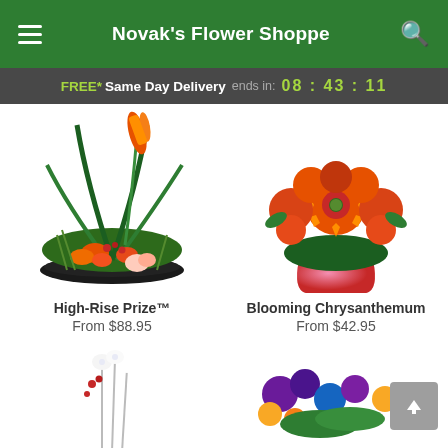Novak's Flower Shoppe
FREE* Same Day Delivery ends in: 08 : 43 : 11
[Figure (photo): Tropical floral arrangement called High-Rise Prize with bird of paradise and orange lilies in a low black dish]
[Figure (photo): Orange-red blooming chrysanthemum plant in a pink ceramic pot]
High-Rise Prize™
From $88.95
Blooming Chrysanthemum
From $42.95
[Figure (photo): White floral arrangement partially visible at bottom left]
[Figure (photo): Purple and yellow floral bouquet partially visible at bottom right]